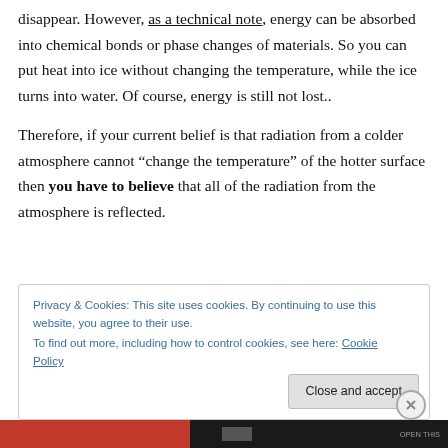disappear. However, as a technical note, energy can be absorbed into chemical bonds or phase changes of materials. So you can put heat into ice without changing the temperature, while the ice turns into water. Of course, energy is still not lost..
Therefore, if your current belief is that radiation from a colder atmosphere cannot “change the temperature” of the hotter surface then you have to believe that all of the radiation from the atmosphere is reflected.
Privacy & Cookies: This site uses cookies. By continuing to use this website, you agree to their use. To find out more, including how to control cookies, see here: Cookie Policy